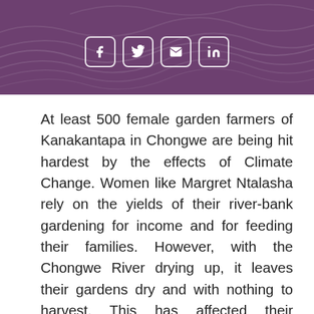[Figure (other): Purple banner header with wavy topographic line pattern in background and four social media share buttons (Facebook, Twitter, Email, LinkedIn) with white rounded-rectangle outlines]
At least 500 female garden farmers of Kanakantapa in Chongwe are being hit hardest by the effects of Climate Change. Women like Margret Ntalasha rely on the yields of their river-bank gardening for income and for feeding their families. However, with the Chongwe River drying up, it leaves their gardens dry and with nothing to harvest. This has affected their livelihoods and they are now relying on odd jobs offered by commercial farmers in their respective communities to feed their children and grandchildren. As Margret explained, in frustration of